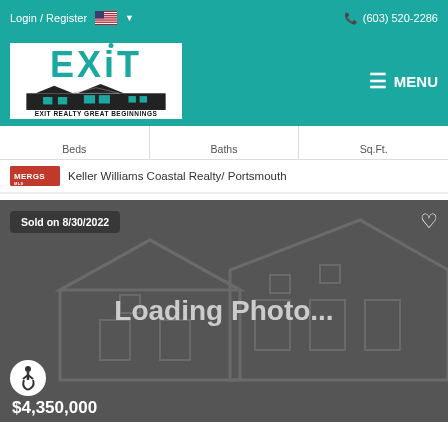Login / Register  (603) 520-2286
[Figure (logo): EXIT Realty Great Beginnings logo — teal EXIT text with house illustration, tagline EXIT REALTY GREAT BEGINNINGS]
MENU
| Beds | Baths | Sq.Ft. |
| --- | --- | --- |
|   |   |   |
Keller Williams Coastal Realty/ Portsmouth
[Figure (photo): Loading Photo... placeholder with house silhouette outline on dark gray background. Badge: Sold on 8/30/2022. Heart icon top right. Accessibility icon bottom left.]
$4,350,000